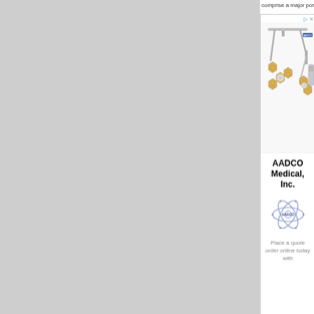comprise a major portion of the
[Figure (photo): Medical surgical LED lighting equipment with hexagonal lamp heads mounted on ceiling arms, AADCO branded]
[Figure (logo): AADCO Medical, Inc. company logo with atomic/orbital design]
AADCO Medical, Inc.
Place a quote order online today with